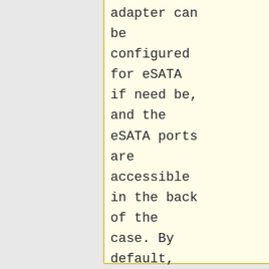adapter can be configured for eSATA if need be, and the eSATA ports are accessible in the back of the case. By default, the internal SATA connectors are active on the adapter.
variants of